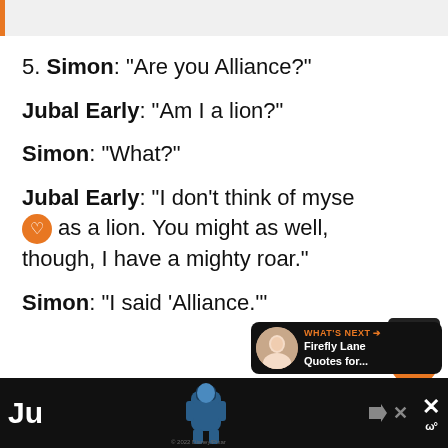5. Simon: “Are you Alliance?”
Jubal Early: “Am I a lion?”
Simon: “What?”
Jubal Early: “I don’t think of myself as a lion. You might as well, though, I have a mighty roar.”
Simon: “I said ‘Alliance.’”
[Figure (infographic): What's Next panel showing Firefly Lane Quotes for... with avatar photo]
Advertisement footer bar with partial text